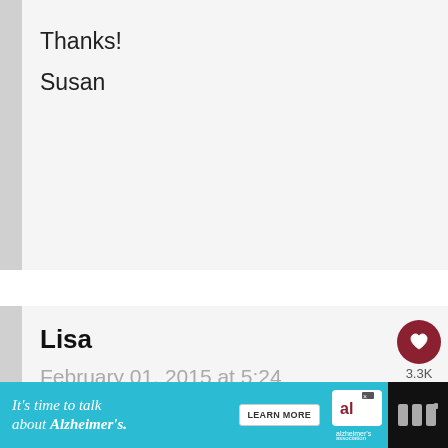Thanks!
Susan
Lisa
February 01, 2015 at 5:24 am
I typically find it in a 15 ounce can.
[Figure (screenshot): Alzheimer's Association advertisement banner: 'It's time to talk about Alzheimer's.' with Learn More button]
3.3K